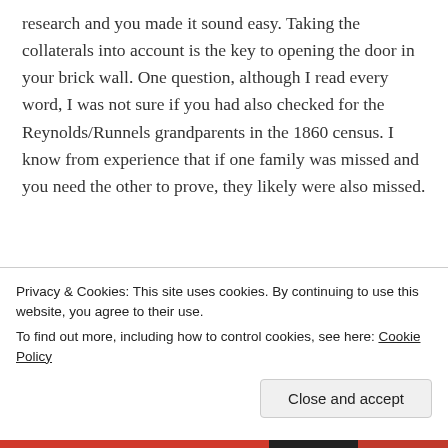research and you made it sound easy. Taking the collaterals into account is the key to opening the door in your brick wall. One question, although I read every word, I was not sure if you had also checked for the Reynolds/Runnels grandparents in the 1860 census. I know from experience that if one family was missed and you need the other to prove, they likely were also missed.
★ Liked by 1 person
REPLY
Privacy & Cookies: This site uses cookies. By continuing to use this website, you agree to their use.
To find out more, including how to control cookies, see here: Cookie Policy
Close and accept